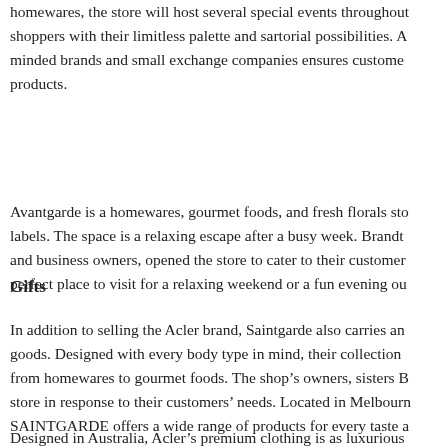homewares, the store will host several special events throughout shoppers with their limitless palette and sartorial possibilities. A minded brands and small exchange companies ensures customers products.
Avantgarde is a homewares, gourmet foods, and fresh florals store labels. The space is a relaxing escape after a busy week. Brandt and business owners, opened the store to cater to their customers perfect place to visit for a relaxing weekend or a fun evening out.
Gifts
In addition to selling the Acler brand, Saintgarde also carries and goods. Designed with every body type in mind, their collection from homewares to gourmet foods. The shop's owners, sisters B store in response to their customers' needs. Located in Melbourne SAINTGARDE offers a wide range of products for every taste and
Designed in Australia, Acler's premium clothing is as luxurious